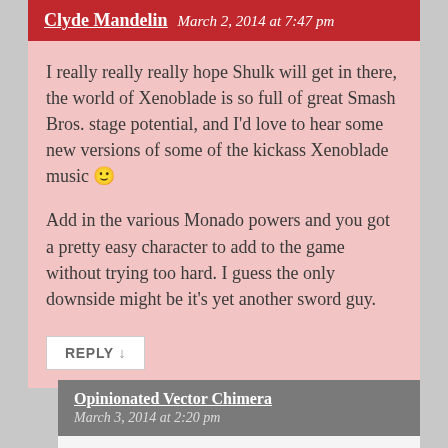Clyde Mandelin  March 2, 2014 at 7:47 pm
I really really really hope Shulk will get in there, the world of Xenoblade is so full of great Smash Bros. stage potential, and I'd love to hear some new versions of some of the kickass Xenoblade music 🙂
Add in the various Monado powers and you got a pretty easy character to add to the game without trying too hard. I guess the only downside might be it's yet another sword guy.
REPLY ↓
Opinionated Vector Chimera  March 3, 2014 at 2:20 pm
Too, too many sword users in Smash